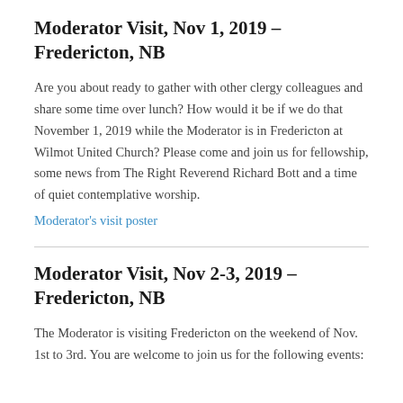Moderator Visit, Nov 1, 2019 – Fredericton, NB
Are you about ready to gather with other clergy colleagues and share some time over lunch? How would it be if we do that November 1, 2019 while the Moderator is in Fredericton at Wilmot United Church? Please come and join us for fellowship, some news from The Right Reverend Richard Bott and a time of quiet contemplative worship.
Moderator's visit poster
Moderator Visit, Nov 2-3, 2019 – Fredericton, NB
The Moderator is visiting Fredericton on the weekend of Nov. 1st to 3rd. You are welcome to join us for the following events: